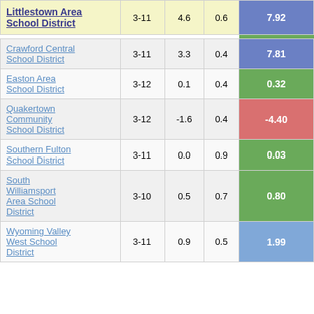| District | Grades | Col3 | Col4 | Score |
| --- | --- | --- | --- | --- |
| Littlestown Area School District | 3-11 | 4.6 | 0.6 | 7.92 |
| Crawford Central School District | 3-11 | 3.3 | 0.4 | 7.81 |
| Easton Area School District | 3-12 | 0.1 | 0.4 | 0.32 |
| Quakertown Community School District | 3-12 | -1.6 | 0.4 | -4.40 |
| Southern Fulton School District | 3-11 | 0.0 | 0.9 | 0.03 |
| South Williamsport Area School District | 3-10 | 0.5 | 0.7 | 0.80 |
| Wyoming Valley West School District | 3-11 | 0.9 | 0.5 | 1.99 |